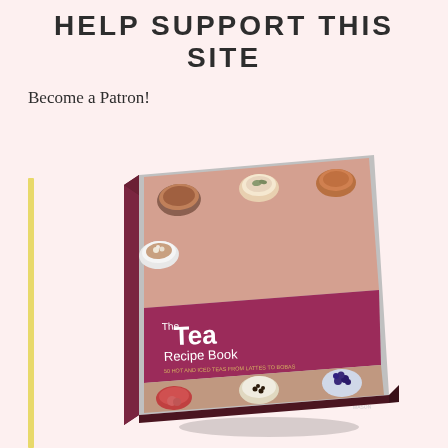HELP SUPPORT THIS SITE
Become a Patron!
[Figure (photo): Book cover of 'The Tea Recipe Book: 50 Hot and Iced Teas From Lattes to Bobas' with a mauve/crimson band and photos of various tea drinks from above, displayed as a 3D tilted book with a yellow vertical bar on the left side of the page.]